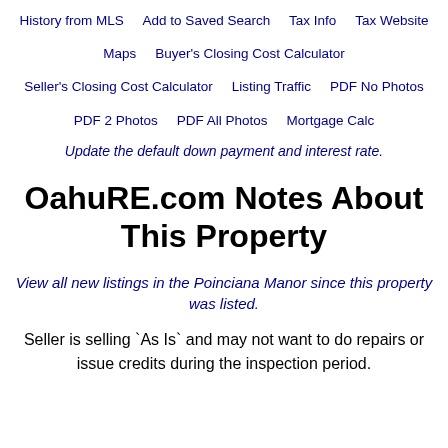History from MLS   Add to Saved Search   Tax Info   Tax Website
Maps   Buyer's Closing Cost Calculator
Seller's Closing Cost Calculator   Listing Traffic   PDF No Photos
PDF 2 Photos   PDF All Photos   Mortgage Calc
Update the default down payment and interest rate.
OahuRE.com Notes About This Property
View all new listings in the Poinciana Manor since this property was listed.
Seller is selling `As Is` and may not want to do repairs or issue credits during the inspection period.